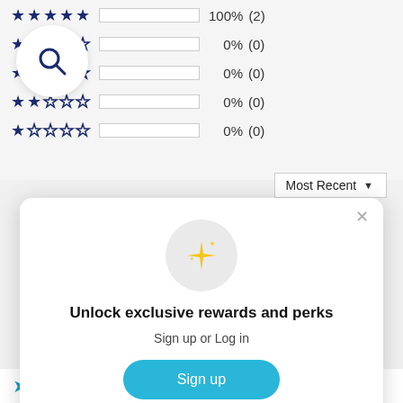[Figure (screenshot): Star rating breakdown rows showing 4-star (0%, 0), 3-star (0%, 0), 2-star (0%, 0), 1-star (0%, 0) rows with bar charts, plus a 5-star row partially visible at top with 100% (2)]
[Figure (other): Circular search magnifier icon overlaid on rating section]
Most Recent ▼
[Figure (screenshot): Modal dialog with sparkle icon]
Unlock exclusive rewards and perks
Sign up or Log in
Sign up
Already have an account? Sign in
Krissy